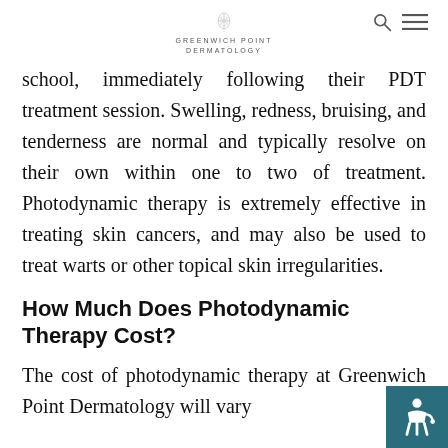GREENWICH POINT DERMATOLOGY
school, immediately following their PDT treatment session. Swelling, redness, bruising, and tenderness are normal and typically resolve on their own within one to two of treatment. Photodynamic therapy is extremely effective in treating skin cancers, and may also be used to treat warts or other topical skin irregularities.
How Much Does Photodynamic Therapy Cost?
The cost of photodynamic therapy at Greenwich Point Dermatology will vary